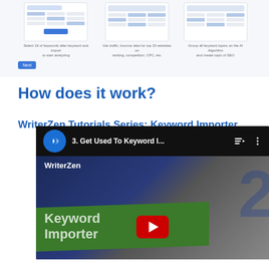[Figure (screenshot): Three UI screenshot cards from WriterZen keyword importer interface, with captions below each screenshot and a Next button]
How does it work?
WriterZen Tutorials Series: Keyword Importer
[Figure (screenshot): YouTube video embed showing WriterZen tutorial video titled '3. Get Used To Keyword I...' with Keyword Importer branding, play button, and WriterZen channel logo]